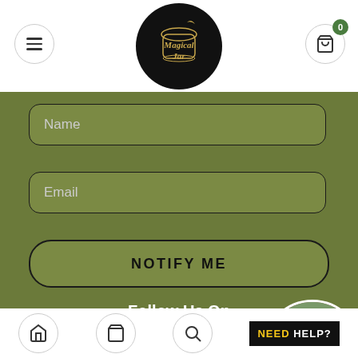[Figure (logo): Magical Jar logo — dark circular badge with gold script text on black background, centered in white header]
Name
Email
NOTIFY ME
Follow Us On
[Figure (illustration): Three social media icons (Instagram, Facebook, YouTube) as white icons on black circles]
[Figure (photo): Circular avatar photo of a woman with long hair wearing a yellow outfit, placed bottom-right]
NEED HELP?